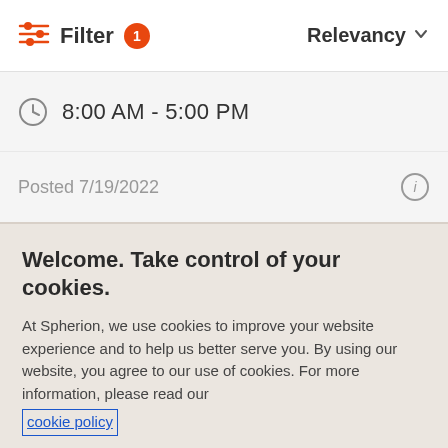Filter 1   Relevancy
8:00 AM - 5:00 PM
Posted 7/19/2022
Welcome. Take control of your cookies.
At Spherion, we use cookies to improve your website experience and to help us better serve you. By using our website, you agree to our use of cookies. For more information, please read our cookie policy
Cookies Settings   Accept Cookies